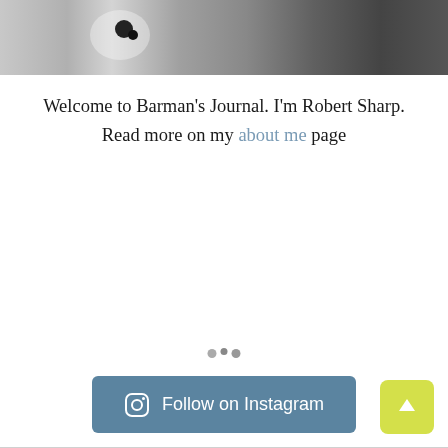[Figure (photo): Black and white photo strip showing partial figures, one with a dalmatian-spotted pattern visible]
Welcome to Barman's Journal. I'm Robert Sharp. Read more on my about me page
[Figure (other): Loading dots indicator - three small circles]
Follow on Instagram
[Figure (other): Yellow/green scroll-to-top button with upward arrow]